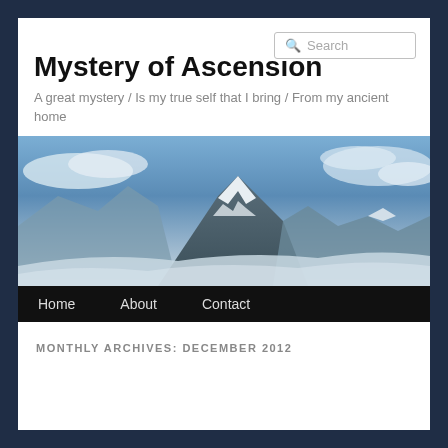Search
Mystery of Ascension
A great mystery / Is my true self that I bring / From my ancient home
[Figure (photo): Snow-capped mountain peak emerging from clouds against a blue sky, sepia-toned/desaturated photograph]
Home   About   Contact
MONTHLY ARCHIVES: DECEMBER 2012